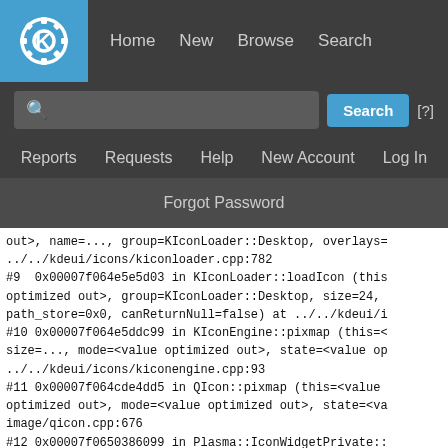[Figure (screenshot): KDE Bugtracker website navigation bar with logo, Home/New/Browse/Search links, search input, Reports/Requests/Help/New Account/Log In links, and Forgot Password bar]
out>, name=..., group=KIconLoader::Desktop, overlays=
../../kdeui/icons/kiconloader.cpp:782
#9  0x00007f064e5e5d03 in KIconLoader::loadIcon (this
optimized out>, group=KIconLoader::Desktop, size=24,
path_store=0x0, canReturnNull=false) at ../../kdeui/i
#10 0x00007f064e5ddc99 in KIconEngine::pixmap (this=<
size=..., mode=<value optimized out>, state=<value op
../../kdeui/icons/kiconengine.cpp:93
#11 0x00007f064cde4dd5 in QIcon::pixmap (this=<value
optimized out>, mode=<value optimized out>, state=<va
image/qicon.cpp:676
#12 0x00007f0650386099 in Plasma::IconWidgetPrivate::
option=<value optimized out>, useHoverEffect=false, u
../../plasma/widgets/iconwidget.cpp:812
#13 0x00007f065038be51 in Plasma::IconWidget::paint (
painter=0x7fffb4eabf90, option=0x25c2778, widget=<val
../../plasma/widgets/iconwidget.cpp:1128
#14 0x00007f06370383e9 in SystemTray::DBusSystemTray